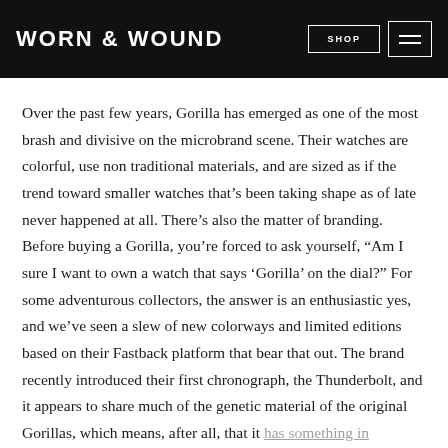WORN & WOUND
Over the past few years, Gorilla has emerged as one of the most brash and divisive on the microbrand scene. Their watches are colorful, use non traditional materials, and are sized as if the trend toward smaller watches that's been taking shape as of late never happened at all. There's also the matter of branding. Before buying a Gorilla, you're forced to ask yourself, “Am I sure I want to own a watch that says ‘Gorilla’ on the dial?” For some adventurous collectors, the answer is an enthusiastic yes, and we’ve seen a slew of new colorways and limited editions based on their Fastback platform that bear that out. The brand recently introduced their first chronograph, the Thunderbolt, and it appears to share much of the genetic material of the original Gorillas, which means, after all, that it has something in common with our own.